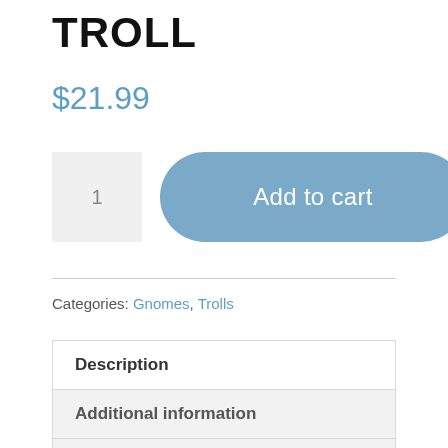TROLL
$21.99
1   Add to cart
Categories: Gnomes, Trolls
| Description |
| Additional information |
| Reviews (0) |
DESCRIPTION